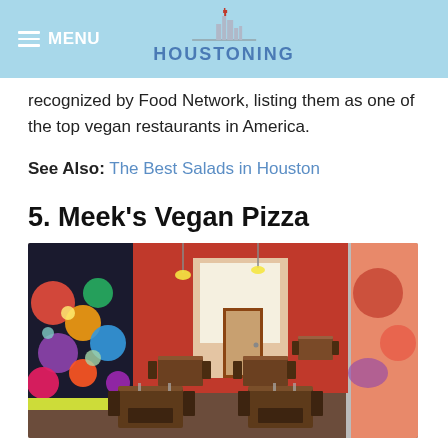MENU  HOUSTONING
recognized by Food Network, listing them as one of the top vegan restaurants in America.
See Also: The Best Salads in Houston
5. Meek's Vegan Pizza
[Figure (photo): Interior of Meek's Vegan Pizza restaurant showing wooden tables and chairs, colorful floral mural on left wall, red walls and door at back, hardwood floors, and hanging Edison-style lights.]